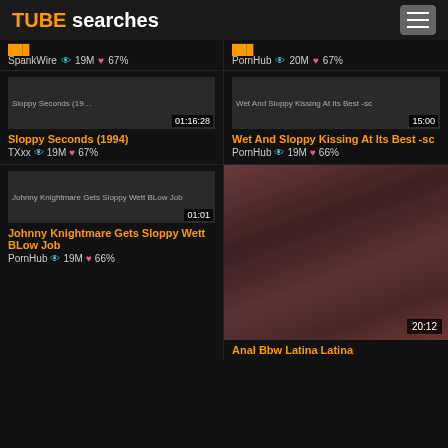TUBE searches
SpankWire 19M 67%
PornHub 20M 67%
[Figure (screenshot): Thumbnail for Sloppy Seconds (1994) with duration 01:16:28]
Sloppy Seconds (1994)
TXxx 19M 67%
[Figure (screenshot): Thumbnail for Wet And Sloppy Kissing At Its Best -sc with duration 15:00]
Wet And Sloppy Kissing At Its Best -sc
PornHub 19M 66%
[Figure (screenshot): Thumbnail for Johnny Knightmare Gets Sloppy Wett BLow Job with duration 01:01]
Johnny Knightmare Gets Sloppy Wett BLow Job
PornHub 19M 66%
[Figure (photo): Thumbnail photo with duration 20:12]
Anal Bbw Latina Latina